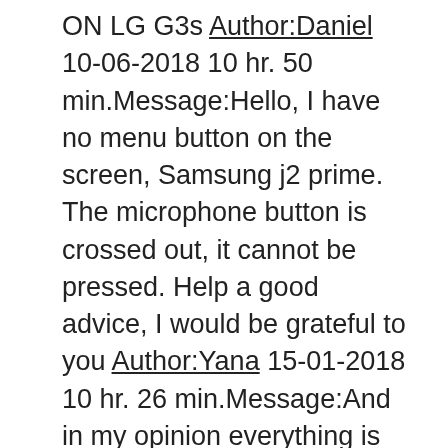ON LG G3s Author:Daniel 10-06-2018 10 hr. 50 min.Message:Hello, I have no menu button on the screen, Samsung j2 prime. The microphone button is crossed out, it cannot be pressed. Help a good advice, I would be grateful to you Author:Yana 15-01-2018 10 hr. 26 min.Message:And in my opinion everything is clearly explained here, the author thanks so much for this instruction Author:Vyacheslav 02-11-2017 16 hours. 50 min.Message:It is not clear. Author:Elena 14-10-2017 22 hrs. 31 min.Message:Samsung a3 2016 can you record a conversation?If so, how? Author:Kaim 02-09-2017 02 hr. 03 min.Message:I have a LG K10 phone. But I could not use the recorder in any way. Author:Victoria 23-06-2017 13 hrs. 02 min.Message:Please tell me please how to LG g3s. I have no idea. It's like there is no such function on it at all Author:Valentina 23-06-2017 12 hr. 47